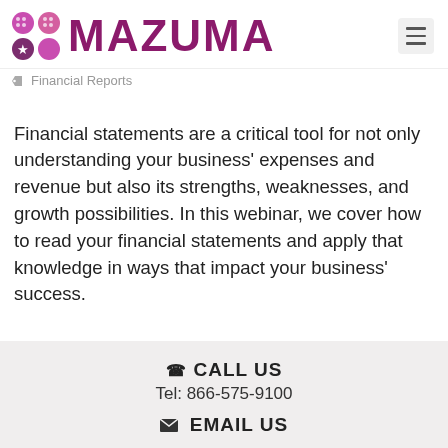[Figure (logo): Mazuma logo with colorful dot grid icon and purple MAZUMA text, plus hamburger menu icon]
Financial Reports
Financial statements are a critical tool for not only understanding your business' expenses and revenue but also its strengths, weaknesses, and growth possibilities. In this webinar, we cover how to read your financial statements and apply that knowledge in ways that impact your business' success.
CALL US
Tel: 866-575-9100
EMAIL US